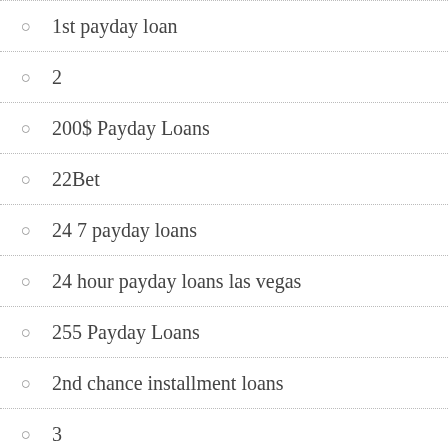1st payday loan
2
200$ Payday Loans
22Bet
24 7 payday loans
24 hour payday loans las vegas
255 Payday Loans
2nd chance installment loans
3
30 day installment loans
30 day pay day loans